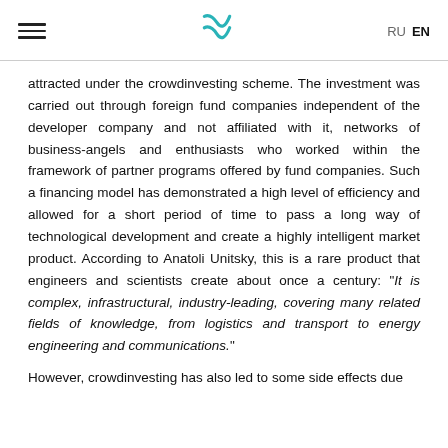≡  [logo]  RU  EN
attracted under the crowdinvesting scheme. The investment was carried out through foreign fund companies independent of the developer company and not affiliated with it, networks of business-angels and enthusiasts who worked within the framework of partner programs offered by fund companies. Such a financing model has demonstrated a high level of efficiency and allowed for a short period of time to pass a long way of technological development and create a highly intelligent market product. According to Anatoli Unitsky, this is a rare product that engineers and scientists create about once a century: "It is complex, infrastructural, industry-leading, covering many related fields of knowledge, from logistics and transport to energy engineering and communications."
However, crowdinvesting has also led to some side effects due